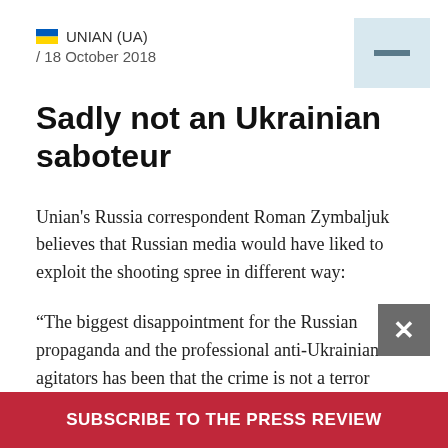UNIAN (UA) / 18 October 2018
Sadly not an Ukrainian saboteur
Unian's Russia correspondent Roman Zymbaljuk believes that Russian media would have liked to exploit the shooting spree in different way:
“The biggest disappointment for the Russian propaganda and the professional anti-Ukrainian agitators has been that the crime is not a terror attack. That it wasn't carried out by Nato-
SUBSCRIBE TO THE PRESS REVIEW